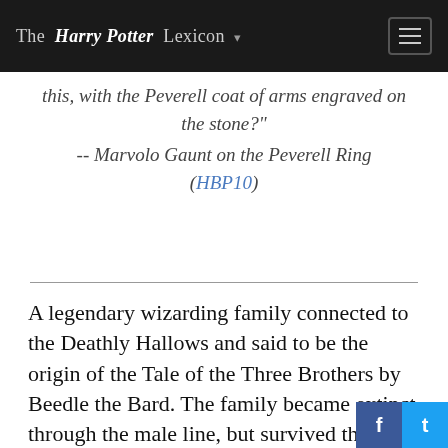The Harry Potter Lexicon
this, with the Peverell coat of arms engraved on the stone?" -- Marvolo Gaunt on the Peverell Ring (HBP10)
A legendary wizarding family connected to the Deathly Hallows and said to be the origin of the Tale of the Three Brothers by Beedle the Bard. The family became extinct through the male line, but survived through Iolanthe Peverell who married Hardwin, son of Linfred of Stinchcombe, and passed down the Cloak of Invisibility